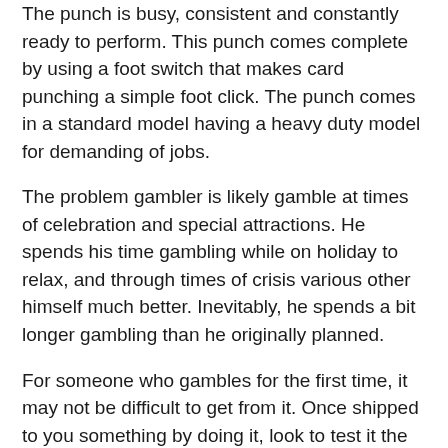The punch is busy, consistent and constantly ready to perform. This punch comes complete by using a foot switch that makes card punching a simple foot click. The punch comes in a standard model having a heavy duty model for demanding of jobs.
The problem gambler is likely gamble at times of celebration and special attractions. He spends his time gambling while on holiday to relax, and through times of crisis various other himself much better. Inevitably, he spends a bit longer gambling than he originally planned.
For someone who gambles for the first time, it may not be difficult to get from it. Once shipped to you something by doing it, look to test it the second time. An individual have get the idea of gambling, you will likely want to make it once more ,. The next thing you know, you feel unconsciously addicted to it. When you would like to stop, will be nothing you can perform.